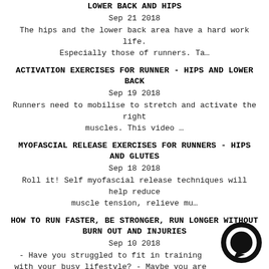LOWER BACK AND HIPS
Sep 21 2018
The hips and the lower back area have a hard work life. Especially those of runners. Ta…
ACTIVATION EXERCISES FOR RUNNER - HIPS AND LOWER BACK
Sep 19 2018
Runners need to mobilise to stretch and activate the right muscles. This video …
MYOFASCIAL RELEASE EXERCISES FOR RUNNERS - HIPS AND GLUTES
Sep 18 2018
Roll it! Self myofascial release techniques will help reduce muscle tension, relieve mu…
HOW TO RUN FASTER, BE STRONGER, RUN LONGER WITHOUT BURN OUT AND INJURIES
Sep 10 2018
- Have you struggled to fit in training with your busy lifestyle? - Maybe you are a…